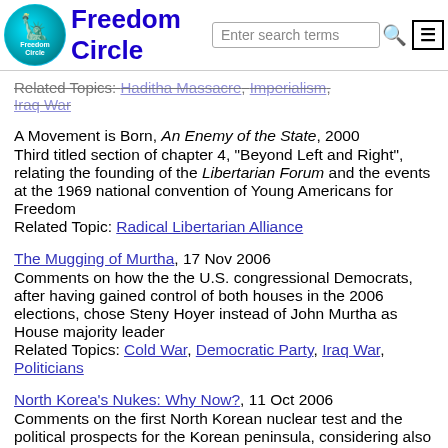Freedom Circle
Related Topics: Haditha Massacre, Imperialism, Iraq War
A Movement is Born, An Enemy of the State, 2000
Third titled section of chapter 4, "Beyond Left and Right", relating the founding of the Libertarian Forum and the events at the 1969 national convention of Young Americans for Freedom
Related Topic: Radical Libertarian Alliance
The Mugging of Murtha, 17 Nov 2006
Comments on how the the U.S. congressional Democrats, after having gained control of both houses in the 2006 elections, chose Steny Hoyer instead of John Murtha as House majority leader
Related Topics: Cold War, Democratic Party, Iraq War, Politicians
North Korea's Nukes: Why Now?, 11 Oct 2006
Comments on the first North Korean nuclear test and the political prospects for the Korean peninsula, considering also China and the United